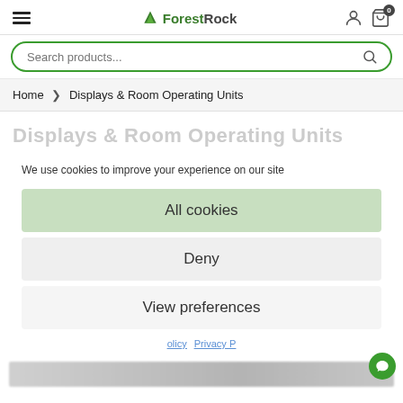Forest Rock — navigation header with hamburger menu, logo, user icon, and cart (0)
Search products...
Home > Displays & Room Operating Units
Displays & Room Operating Units
We use cookies to improve your experience on our site
All cookies
Deny
View preferences
olicy  Privacy P